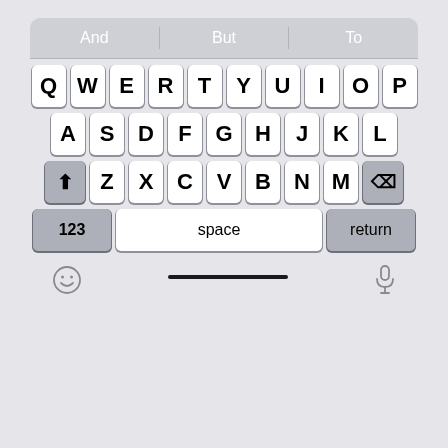[Figure (screenshot): iOS QWERTY keyboard screenshot with predictive text bar showing 'And', 'But', 'To'; four rows of keys including QWERTYUIOP, ASDFGHJKL, ZXCVBNM with shift and delete, and bottom row with 123, space, return keys. System bar shows emoji and microphone icons with home indicator bar.]